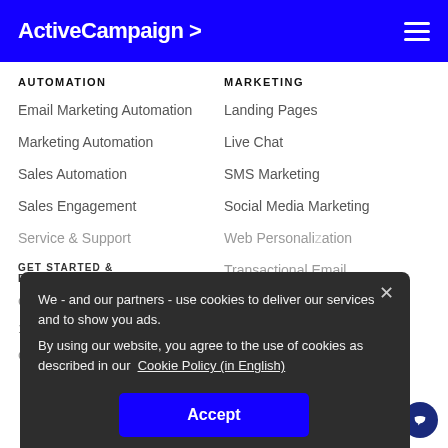ActiveCampaign >
AUTOMATION
Email Marketing Automation
Marketing Automation
Sales Automation
Sales Engagement
Service & Support
MARKETING
Landing Pages
Live Chat
SMS Marketing
Social Media Marketing
Web Personalization
Transactional Email
GET STARTED & RESOURCES
INTEGRATIONS
Get Started
1:1 Strategy Session
Community
Integration Marketplace
Developer Center
Free Tools
We - and our partners - use cookies to deliver our services and to show you ads. By using our website, you agree to the use of cookies as described in our Cookie Policy (in English)